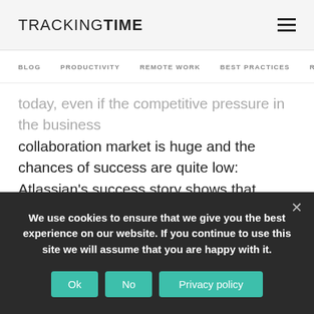TRACKINGTIME
BLOG  PRODUCTIVITY  REMOTE WORK  BEST PRACTICES  RE
today, even if the competitive pressure in the business collaboration market is huge and the chances of success are quite low: Atlassian's success story shows that nothing is impossible.
We use cookies to ensure that we give you the best experience on our website. If you continue to use this site we will assume that you are happy with it.
Ok  No  Privacy policy